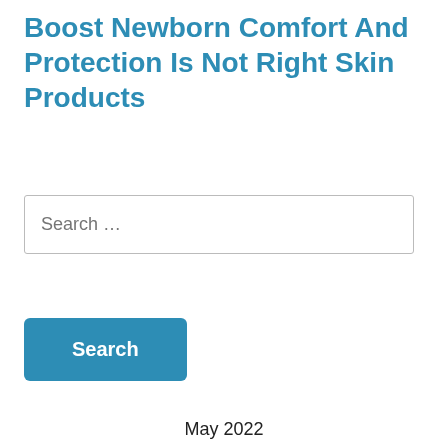Boost Newborn Comfort And Protection Is Not Right Skin Products
Search …
Search
May 2022